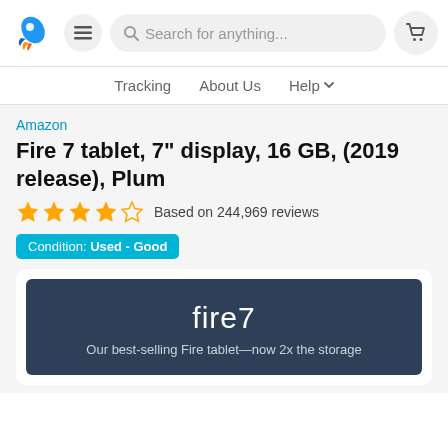Navigation header with logo, search bar, menu, and cart
Tracking   About Us   Help
Amazon
Fire 7 tablet, 7" display, 16 GB, (2019 release), Plum
Based on 244,969 reviews
Condition: Used - Good
[Figure (photo): Fire 7 tablet product banner with dark background showing 'fire 7' text and 'Our best-selling Fire tablet—now 2x the storage']